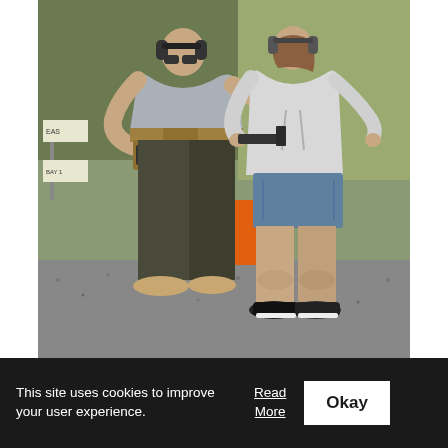[Figure (photo): Two people standing on a gravel shooting range outdoors. On the left, an adult male wearing a gray t-shirt, dark tactical pants, tan boots, hearing protection, and a holster/tactical belt, appears to be instructing. On the right, a young woman wearing a white hoodie, denim shorts, black sneakers, and earmuffs, holding a firearm in an extended position with both hands. Green vegetation and a hillside are visible in the background, along with an orange barrel and range signs.]
This site uses cookies to improve your user experience.
Read More
Okay